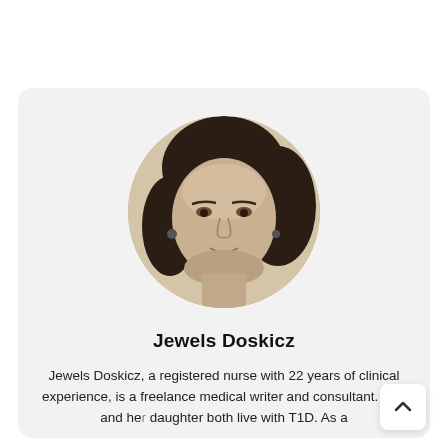[Figure (photo): Circular black-and-white/sepia portrait photo of Jewels Doskicz, a woman with curly dark hair, smiling slightly, wearing earrings.]
Jewels Doskicz
Jewels Doskicz, a registered nurse with 22 years of clinical experience, is a freelance medical writer and consultant. She and her daughter both live with T1D. As a